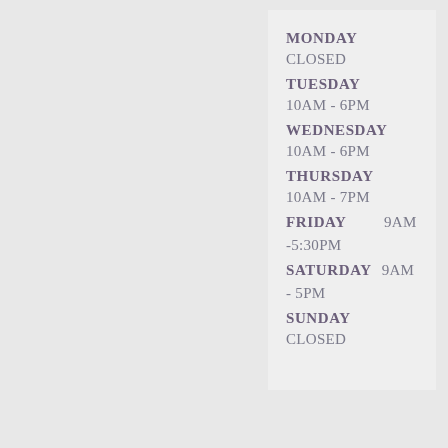MONDAY
CLOSED
TUESDAY
10AM - 6PM
WEDNESDAY
10AM - 6PM
THURSDAY
10AM - 7PM
FRIDAY  9AM -5:30PM
SATURDAY  9AM - 5PM
SUNDAY
CLOSED